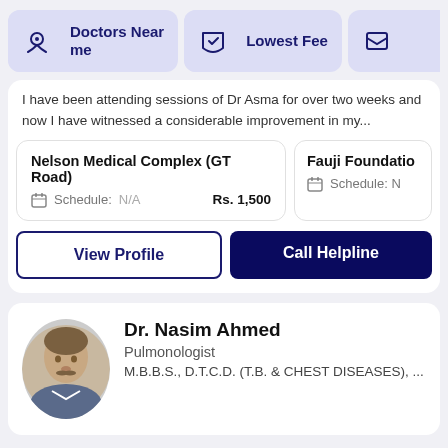[Figure (screenshot): Top navigation bar with 'Doctors Near me' and 'Lowest Fee' filter buttons with icons on a light purple background]
I have been attending sessions of Dr Asma for over two weeks and now I have witnessed a considerable improvement in my...
Nelson Medical Complex (GT Road)
Schedule: N/A
Rs. 1,500
Fauji Foundatio
Schedule: N...
View Profile
Call Helpline
Dr. Nasim Ahmed
Pulmonologist
M.B.B.S., D.T.C.D. (T.B. & CHEST DISEASES), ...